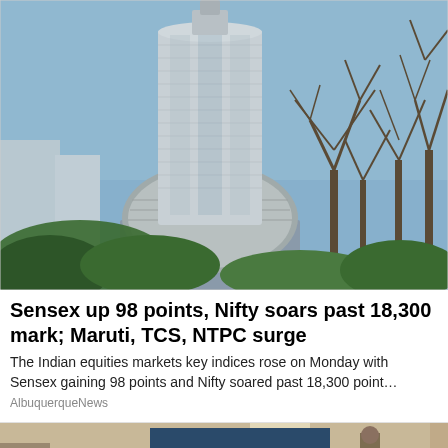[Figure (photo): Photograph of the Bombay Stock Exchange (BSE) building in Mumbai — a tall modern skyscraper with curved facade and dome base, with bare trees visible on the right against a blue sky.]
Sensex up 98 points, Nifty soars past 18,300 mark; Maruti, TCS, NTPC surge
The Indian equities markets key indices rose on Monday with Sensex gaining 98 points and Nifty soared past 18,300 point…
AlbuquerqueNews
[Figure (photo): Partially visible photograph at the bottom of the page showing what appears to be an indoor classroom or office scene.]